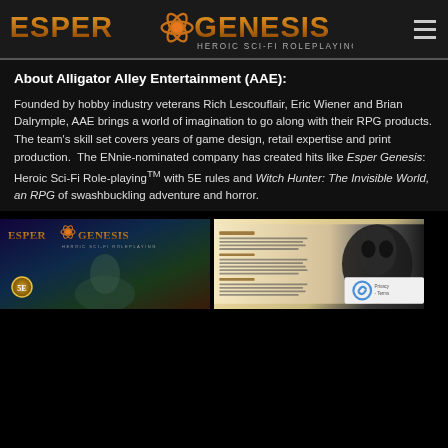Esper Genesis - Heroic Sci-Fi Roleplaying
About Alligator Alley Entertainment (AAE):
Founded by hobby industry veterans Rich Lescouflair, Eric Wiener and Brian Dalrymple, AAE brings a world of imagination to go along with their RPG products. The team's skill set covers years of game design, retail expertise and print production.  The ENnie-nominated company has created hits like Esper Genesis: Heroic Sci-Fi Roleplaying™ with 5E rules and Witch Hunter: The Invisible World, an RPG of swashbuckling adventure and horror.
[Figure (photo): Esper Genesis book cover with 5E badge showing a sci-fi alien creature]
[Figure (photo): Interior page of a roleplaying game book showing text sections with a dark alien creature on the right, and a reCAPTCHA badge overlay]